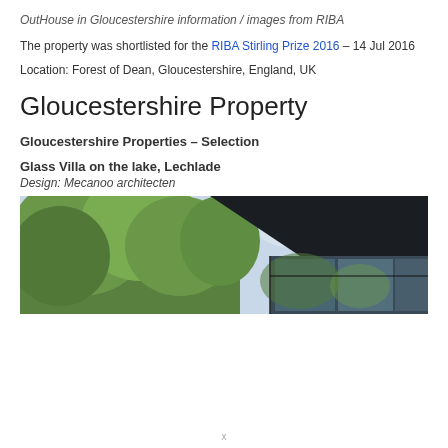OutHouse in Gloucestershire information / images from RIBA
The property was shortlisted for the RIBA Stirling Prize 2016 – 14 Jul 2016
Location: Forest of Dean, Gloucestershire, England, UK
Gloucestershire Property
Gloucestershire Properties – Selection
Glass Villa on the lake, Lechlade
Design: Mecanoo architecten
[Figure (photo): Exterior photo of a modern glass villa building with dark angular roof panel and reflective glass facade, surrounded by green trees, against a partly cloudy sky.]